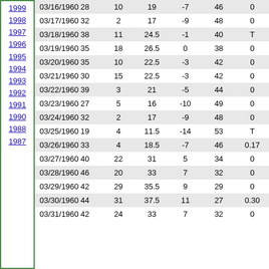1999
1998
1997
1996
1995
1994
1993
1992
1991
1990
1988
1987
| Date | Max | Min | Mean | Dep | HDD | Precip |
| --- | --- | --- | --- | --- | --- | --- |
| 03/16/1960 | 28 | 10 | 19 | -7 | 46 | 0 |
| 03/17/1960 | 32 | 2 | 17 | -9 | 48 | 0 |
| 03/18/1960 | 38 | 11 | 24.5 | -1 | 40 | T |
| 03/19/1960 | 35 | 18 | 26.5 | 0 | 38 | 0 |
| 03/20/1960 | 35 | 10 | 22.5 | -3 | 42 | 0 |
| 03/21/1960 | 30 | 15 | 22.5 | -3 | 42 | 0 |
| 03/22/1960 | 39 | 3 | 21 | -5 | 44 | 0 |
| 03/23/1960 | 27 | 5 | 16 | -10 | 49 | 0 |
| 03/24/1960 | 32 | 2 | 17 | -9 | 48 | 0 |
| 03/25/1960 | 19 | 4 | 11.5 | -14 | 53 | T |
| 03/26/1960 | 33 | 4 | 18.5 | -7 | 46 | 0.17 |
| 03/27/1960 | 40 | 22 | 31 | 5 | 34 | 0 |
| 03/28/1960 | 46 | 20 | 33 | 7 | 32 | 0 |
| 03/29/1960 | 42 | 29 | 35.5 | 9 | 29 | 0 |
| 03/30/1960 | 44 | 31 | 37.5 | 11 | 27 | 0.30 |
| 03/31/1960 | 42 | 24 | 33 | 7 | 32 | 0 |